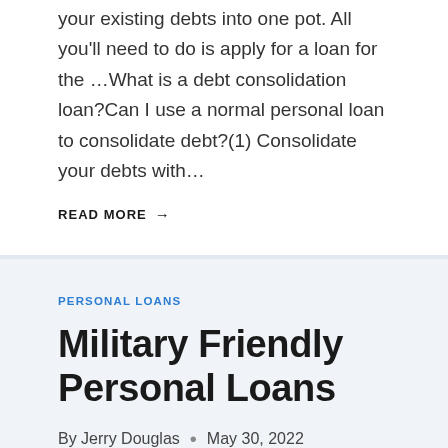your existing debts into one pot. All you'll need to do is apply for a loan for the …What is a debt consolidation loan?Can I use a normal personal loan to consolidate debt?(1) Consolidate your debts with…
READ MORE →
PERSONAL LOANS
Military Friendly Personal Loans
By Jerry Douglas • May 30, 2022
Best Personal Loans For Veterans & Military